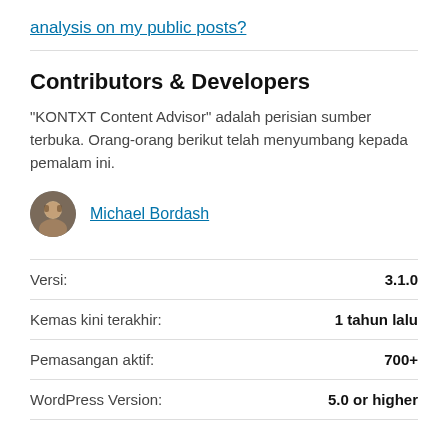analysis on my public posts?
Contributors & Developers
“KONTXT Content Advisor” adalah perisian sumber terbuka. Orang-orang berikut telah menyumbang kepada pemalam ini.
Michael Bordash
| Label | Value |
| --- | --- |
| Versi: | 3.1.0 |
| Kemas kini terakhir: | 1 tahun lalu |
| Pemasangan aktif: | 700+ |
| WordPress Version: | 5.0 or higher |